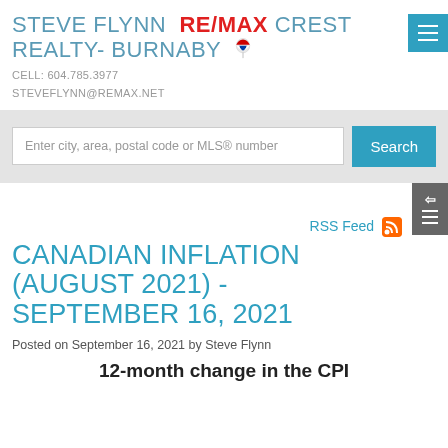STEVE FLYNN RE/MAX CREST REALTY- BURNABY
CELL: 604.785.3977
STEVEFLYNN@REMAX.NET
Enter city, area, postal code or MLS® number
RSS Feed
CANADIAN INFLATION (AUGUST 2021) - SEPTEMBER 16, 2021
Posted on September 16, 2021 by Steve Flynn
12-month change in the CPI